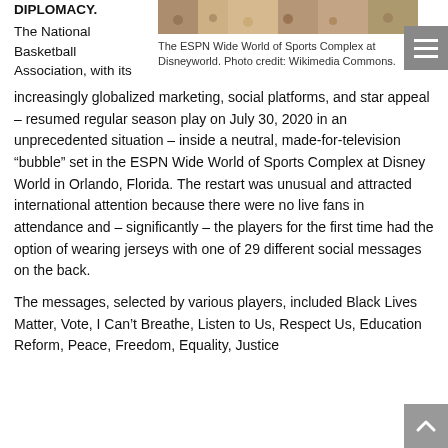DIPLOMACY.
The National Basketball Association, with its
[Figure (photo): Crowd of people at the ESPN Wide World of Sports Complex at Disneyworld.]
The ESPN Wide World of Sports Complex at Disneyworld. Photo credit: Wikimedia Commons.
increasingly globalized marketing, social platforms, and star appeal – resumed regular season play on July 30, 2020 in an unprecedented situation – inside a neutral, made-for-television “bubble” set in the ESPN Wide World of Sports Complex at Disney World in Orlando, Florida. The restart was unusual and attracted international attention because there were no live fans in attendance and – significantly – the players for the first time had the option of wearing jerseys with one of 29 different social messages on the back.
The messages, selected by various players, included Black Lives Matter, Vote, I Can’t Breathe, Listen to Us, Respect Us, Education Reform, Peace, Freedom, Equality, Justice